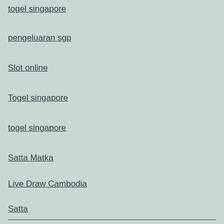togel singapore
pengeluaran sgp
Slot online
Togel singapore
togel singapore
Satta Matka
Live Draw Cambodia
Satta